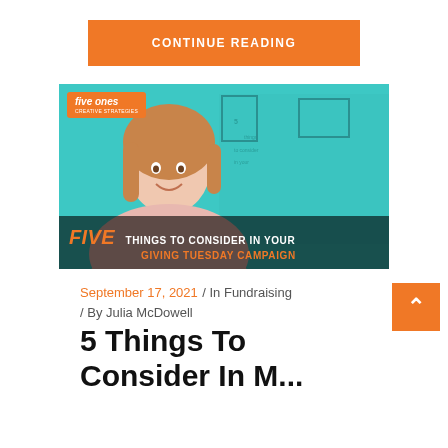CONTINUE READING
[Figure (screenshot): Video thumbnail showing a woman smiling against a teal background with text overlay reading 'FIVE THINGS TO CONSIDER IN YOUR GIVING TUESDAY CAMPAIGN' and a Five Ones logo in the top left corner]
September 17, 2021 / In Fundraising / By Julia McDowell
5 Things To Consider In Your